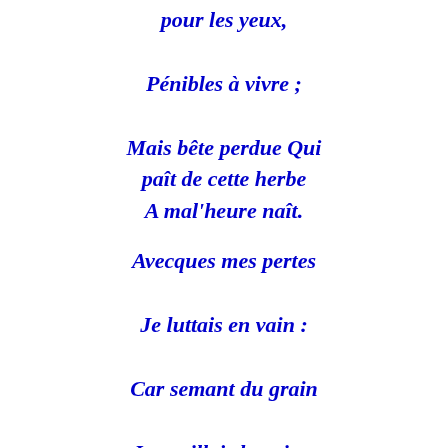pour les yeux,
Pénibles à vivre ;
Mais bête perdue Qui paît de cette herbe
A mal'heure naît.

Avecques mes pertes
Je luttais en vain :
Car semant du grain
Je cueillais la peine.
Nul amour ne vis Qui durât beaucoup Sans beaucoup blesser.
(Luis De Camoes)
Recueil: 35 siècles de poésie amoureuse